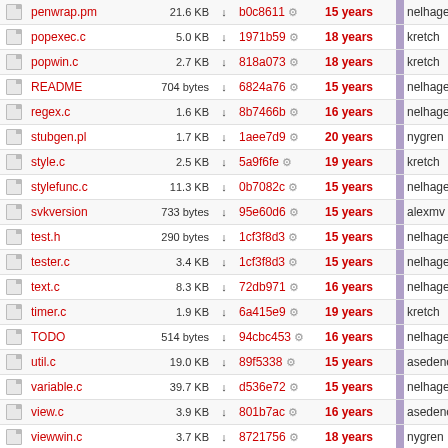|  | Name | Size |  | Hash |  | Age |  | Author | Description |
| --- | --- | --- | --- | --- | --- | --- | --- | --- | --- |
|  | penwrap.pm | 21.6 KB | ↓ | b0c8611 | ⚙ | 15 years |  | nelhage | doc hits |
|  | popexec.c | 5.0 KB | ↓ | 1971b59 | ⚙ | 18 years |  | kretch | Consistif |
|  | popwin.c | 2.7 KB | ↓ | 818a073 | ⚙ | 18 years |  | kretch | Tweaked |
|  | README | 704 bytes | ↓ | 6824a76 | ⚙ | 15 years |  | nelhage | Adding a |
|  | regex.c | 1.6 KB | ↓ | 8b7466b | ⚙ | 16 years |  | nelhage | deleting a |
|  | stubgen.pl | 1.7 KB | ↓ | 1aee7d9 | ⚙ | 20 years |  | nygren | * Added R |
|  | style.c | 2.5 KB | ↓ | 5a9f6fe | ⚙ | 19 years |  | kretch | Command |
|  | stylefunc.c | 11.3 KB | ↓ | 0b7082c | ⚙ | 15 years |  | nelhage | Nuke the |
|  | svkversion | 733 bytes | ↓ | 95e60d6 | ⚙ | 15 years |  | alexmv | Hacky firs |
|  | test.h | 290 bytes | ↓ | 1cf3f8d3 | ⚙ | 15 years |  | nelhage | Make the |
|  | tester.c | 3.4 KB | ↓ | 1cf3f8d3 | ⚙ | 15 years |  | nelhage | Make the |
|  | text.c | 8.3 KB | ↓ | 72db971 | ⚙ | 16 years |  | nelhage | owl_text_ |
|  | timer.c | 1.9 KB | ↓ | 6a415e9 | ⚙ | 19 years |  | kretch | Added the |
|  | TODO | 514 bytes | ↓ | 94cbc453 | ⚙ | 16 years |  | nelhage | Some TO |
|  | util.c | 19.0 KB | ↓ | 89f5338 | ⚙ | 15 years |  | asedeno | Moving ov |
|  | variable.c | 39.7 KB | ↓ | d536e72 | ⚙ | 15 years |  | nelhage | Handle re |
|  | view.c | 3.9 KB | ↓ | 801b7ac | ⚙ | 16 years |  | asedeno | functions. |
|  | viewwin.c | 3.7 KB | ↓ | 8721756 | ⚙ | 18 years |  | nygren | oops, ma |
|  | zbuddylist.c | 1.2 KB | ↓ | dad943e | ⚙ | 19 years |  | kretch | added zbu |